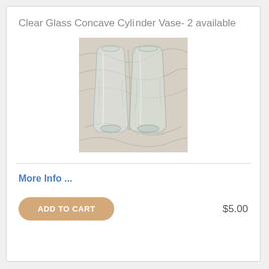Clear Glass Concave Cylinder Vase- 2 available
[Figure (photo): Two clear glass concave cylinder vases standing upright on a white fabric background]
More Info ...
ADD TO CART
$5.00